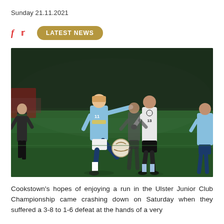Sunday 21.11.2021
f  ♪  LATEST NEWS
[Figure (photo): Gaelic football match action shot: a player in light blue jersey kicking a ball, surrounded by players in black and white jerseys, on a floodlit green pitch at night]
Cookstown’s hopes of enjoying a run in the Ulster Junior Club Championship came crashing down on Saturday when they suffered a 3-8 to 1-6 defeat at the hands of a very